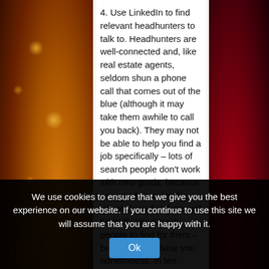4. Use LinkedIn to find relevant headhunters to talk to. Headhunters are well-connected and, like real estate agents, seldom shun a phone call that comes out of the blue (although it may take them awhile to call you back). They may not be able to help you find a job specifically – lots of search people don't work with new grads, because new grads are not the job-seekers that firms will typically pay search people to find for them – but they can advise you nonetheless. In ten minutes on the phone with a headhunter you can learn enough to target some companies, drop others from your list entirely, and save yourself hours or weeks of trouble.
We use cookies to ensure that we give you the best experience on our website. If you continue to use this site we will assume that you are happy with it.